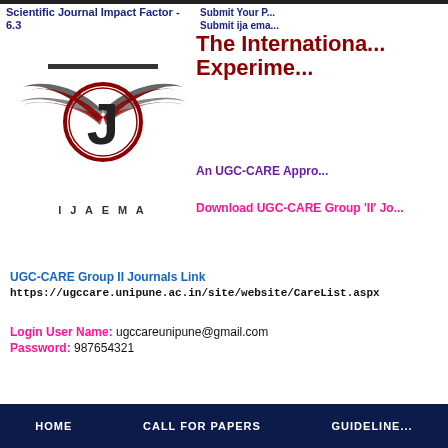[Figure (logo): IJAEMA journal logo with wings and circular emblem, with text IJAEMA below]
Scientific Journal Impact Factor - 6.3
Submit Your P... Submit ija ema...
The Internationa... Experime...
An UGC-CARE Appro...
Download UGC-CARE Group 'II' Jo...
UGC-CARE Group II Journals Link
https://ugccare.unipune.ac.in/site/website/CareList.aspx
Login User Name: ugccareunipune@gmail.com
Password: 987654321
HOME   CALL FOR PAPERS   GUIDELINE...